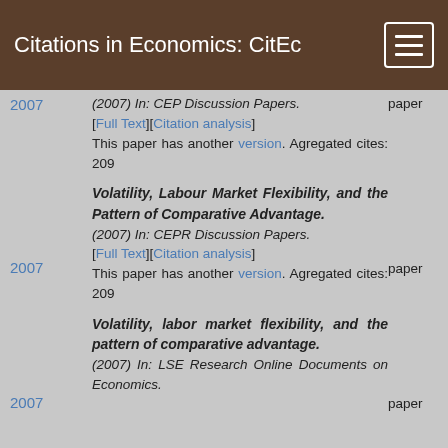Citations in Economics: CitEc
(2007) In: CEP Discussion Papers. paper [Full Text][Citation analysis] This paper has another version. Agregated cites: 209
2007
Volatility, Labour Market Flexibility, and the Pattern of Comparative Advantage.
(2007) In: CEPR Discussion Papers. paper [Full Text][Citation analysis] This paper has another version. Agregated cites: 209
2007
Volatility, labor market flexibility, and the pattern of comparative advantage.
(2007) In: LSE Research Online Documents on Economics. paper
2007